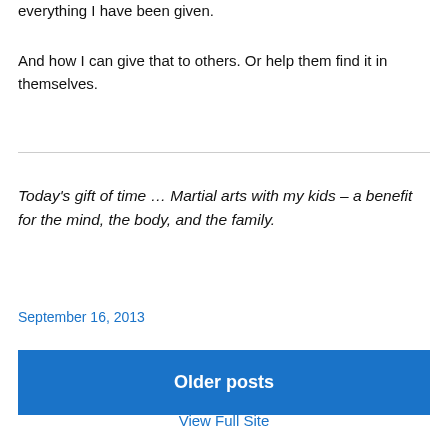everything I have been given.
And how I can give that to others. Or help them find it in themselves.
Today's gift of time … Martial arts with my kids – a benefit for the mind, the body, and the family.
September 16, 2013
Older posts
View Full Site